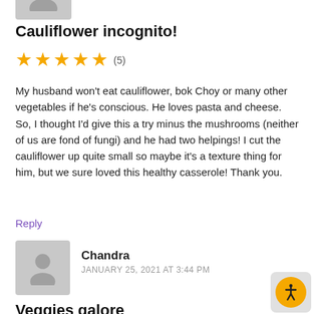[Figure (illustration): Grey avatar placeholder icon (partial, top cropped)]
Cauliflower incognito!
[Figure (infographic): 5 gold stars with count (5)]
My husband won't eat cauliflower, bok Choy or many other vegetables if he's conscious. He loves pasta and cheese. So, I thought I'd give this a try minus the mushrooms (neither of us are fond of fungi) and he had two helpings! I cut the cauliflower up quite small so maybe it's a texture thing for him, but we sure loved this healthy casserole! Thank you.
Reply
[Figure (illustration): Grey avatar placeholder icon for Chandra]
Chandra
JANUARY 25, 2021 AT 3:44 PM
Veggies galore
[Figure (infographic): 5 gold stars with count (5)]